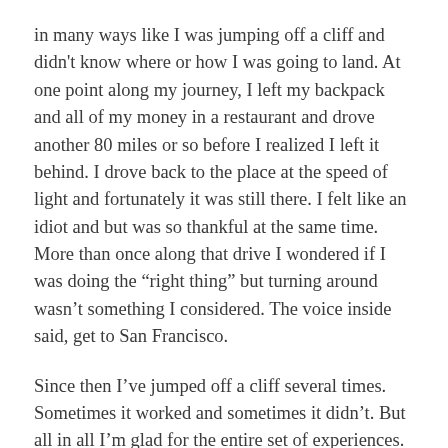in many ways like I was jumping off a cliff and didn't know where or how I was going to land. At one point along my journey, I left my backpack and all of my money in a restaurant and drove another 80 miles or so before I realized I left it behind. I drove back to the place at the speed of light and fortunately it was still there. I felt like an idiot and but was so thankful at the same time. More than once along that drive I wondered if I was doing the “right thing” but turning around wasn’t something I considered. The voice inside said, get to San Francisco.
Since then I’ve jumped off a cliff several times. Sometimes it worked and sometimes it didn’t. But all in all I’m glad for the entire set of experiences.
I think this is something that’s important to keep in mind when you think about joining a startup. Who knows how it’s going to turn out. It’s high risk but the ride and opportunity is everything.